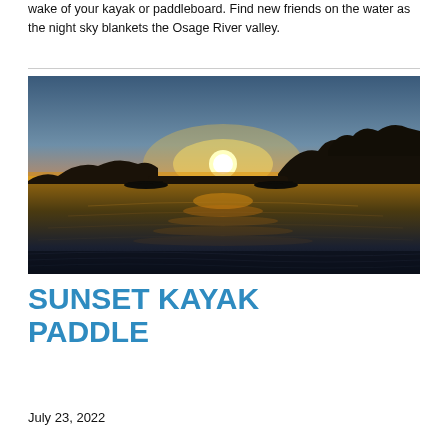wake of your kayak or paddleboard. Find new friends on the water as the night sky blankets the Osage River valley.
[Figure (photo): Sunset photo showing two kayakers paddling on a calm river with a bright orange and yellow sunset on the horizon and silhouetted trees on the right bank. The water reflects the warm sunset colors.]
SUNSET KAYAK PADDLE
July 23, 2022